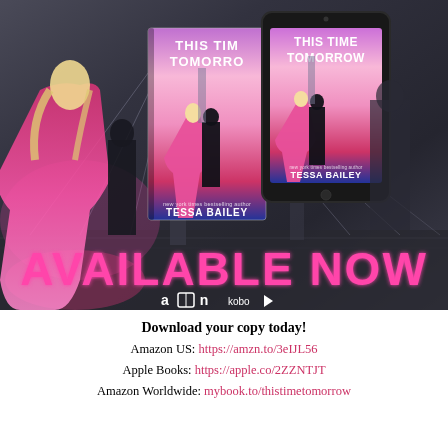[Figure (illustration): Promotional book advertisement image for 'This Time Tomorrow' by Tessa Bailey. Shows two book covers (physical book and tablet/ereader) against a dark Brooklyn Bridge background with a woman in a flowing pink dress. Large pink text reads 'AVAILABLE NOW' with retailer icons (Amazon, Apple Books, Nook, Kobo, Google Play) at the bottom.]
Download your copy today!
Amazon US: https://amzn.to/3eIJL56
Apple Books: https://apple.co/2ZZNTJT
Amazon Worldwide: mybook.to/thistimetomorrow